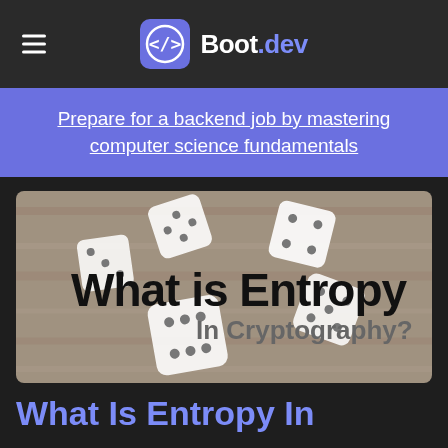Boot.dev
Prepare for a backend job by mastering computer science fundamentals
[Figure (illustration): Hero image showing multiple white dice on a wooden surface background, with bold text overlay reading 'What is Entropy' and subtitle 'In Cryptography?']
What Is Entropy In